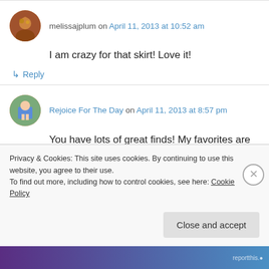melissajplum on April 11, 2013 at 10:52 am
I am crazy for that skirt! Love it!
↳ Reply
Rejoice For The Day on April 11, 2013 at 8:57 pm
You have lots of great finds! My favorites are the last three. A Calvin Klein dress for $7? What a bargain!
Privacy & Cookies: This site uses cookies. By continuing to use this website, you agree to their use.
To find out more, including how to control cookies, see here: Cookie Policy
Close and accept